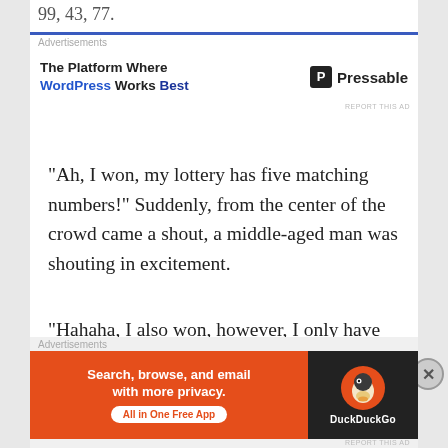99, 43, 77.
[Figure (screenshot): Advertisement banner for Pressable: 'The Platform Where WordPress Works Best' with Pressable logo]
"Ah, I won, my lottery has five matching numbers!" Suddenly, from the center of the crowd came a shout, a middle-aged man was shouting in excitement.
"Hahaha, I also won, however, I only have four matching numbers." Another man among the crowd started shouting, his tone was full of
[Figure (screenshot): Advertisement banner for DuckDuckGo: 'Search, browse, and email with more privacy. All in One Free App' with DuckDuckGo logo]